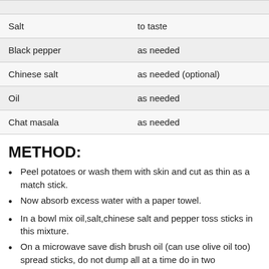| Ingredient | Amount |
| --- | --- |
| Salt | to taste |
| Black pepper | as needed |
| Chinese salt | as needed (optional) |
| Oil | as needed |
| Chat masala | as needed |
METHOD:
Peel potatoes or wash them with skin and cut as thin as a match stick.
Now absorb excess water with a paper towel.
In a bowl mix oil,salt,chinese salt and pepper toss sticks in this mixture.
On a microwave save dish brush oil (can use olive oil too) spread sticks, do not dump all at a time do in two